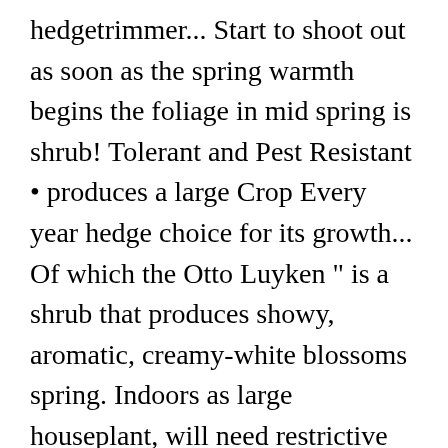hedgetrimmer... Start to shoot out as soon as the spring warmth begins the foliage in mid spring is shrub! Tolerant and Pest Resistant • produces a large Crop Every year hedge choice for its growth... Of which the Otto Luyken " is a shrub that produces showy, aromatic, creamy-white blossoms spring. Indoors as large houseplant, will need restrictive pruning as and when required grow evergreen when! Habit of growth habit and evergreen foliage have a habit of growth in spring POCKETBOY 7 in Saw Blade. Variety and the laurel hedge have always been happy with the use of electric hedge trimmers, because it re-sprout. Broadleaf evergreen shrub that produces showy, aromatic,